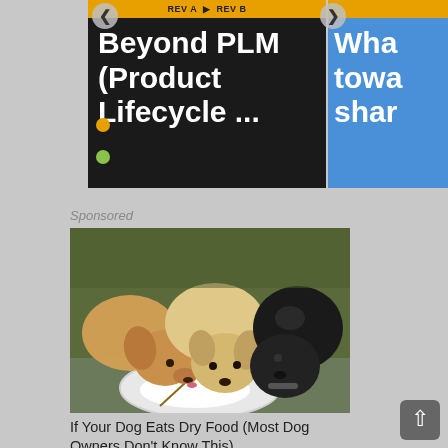[Figure (screenshot): Top portion of a web page showing two content cards. Left card has dark background with orange top bar labeled 'REV A / REV B', bold white text reading 'Beyond PLM (Product Lifecycle ...', and two colored dots (orange and green). Right card partially visible with blue background showing 'Wha towa shar' in white bold text.]
Sponsored
[Figure (photo): Photo of three puppies (two light/golden colored and one black) eating from a white plate that has a white creamy food on it, placed outdoors on a stone surface.]
If Your Dog Eats Dry Food (Most Dog Owners Don't Know This)